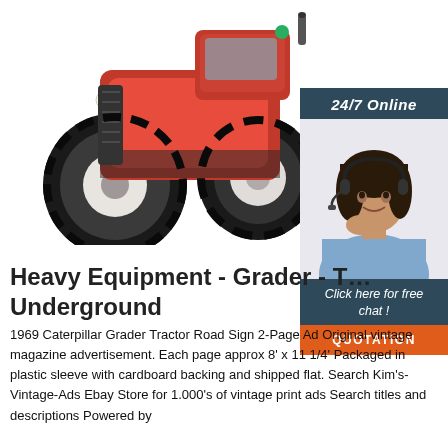[Figure (photo): Red agricultural tractor/heavy equipment viewed from front-left angle, showing large black tires and red body, on white background]
[Figure (photo): Customer service agent widget: dark teal banner reading '24/7 Online', photo of smiling woman with headset, dark teal banner reading 'Click here for free chat !', orange button reading 'QUOTATION']
Heavy Equipment - Grader - Underground
1969 Caterpillar Grader Tractor Road Sign 2-Page Ad Original vintage magazine advertisement. Each page approx 8' x 11 1/4' Packaged in plastic sleeve with cardboard backing and shipped flat. Search Kim's-Vintage-Ads Ebay Store for 1.000's of vintage print ads Search titles and descriptions Powered by